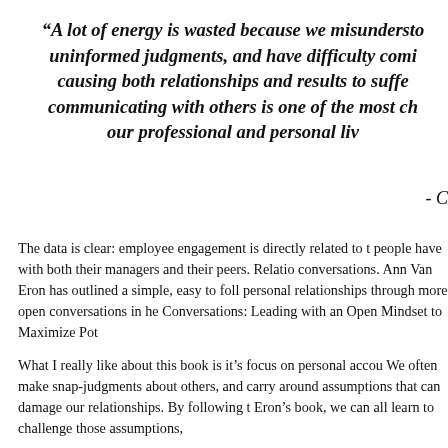“A lot of energy is wasted because we misundersto uninformed judgments, and have difficulty comi causing both relationships and results to suffe communicating with others is one of the most ch our professional and personal liv
- C
The data is clear: employee engagement is directly related to t people have with both their managers and their peers. Relatio conversations. Ann Van Eron has outlined a simple, easy to foll personal relationships through more open conversations in he Conversations: Leading with an Open Mindset to Maximize Pot
What I really like about this book is it’s focus on personal accou We often make snap-judgments about others, and carry around assumptions that can damage our relationships. By following t Eron’s book, we can all learn to challenge those assumptions,